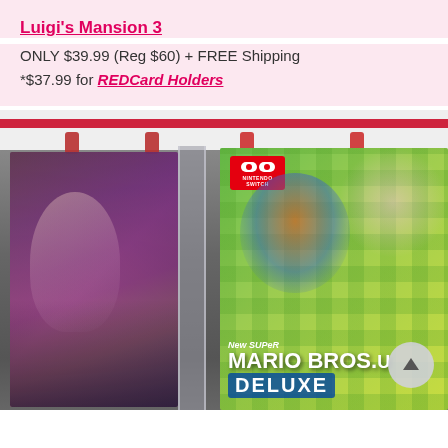Luigi's Mansion 3
ONLY $39.99 (Reg $60) + FREE Shipping
*$37.99 for REDCard Holders
[Figure (photo): Photo of Nintendo Switch game cases on a retail store shelf, including New Super Mario Bros. U Deluxe and an anime-style game, in clear security cases with red anti-theft strips.]